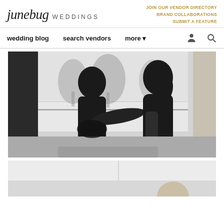junebug WEDDINGS | JOIN OUR VENDOR DIRECTORY | BRAND COLLABORATIONS | SUBMIT A FEATURE
wedding blog | search vendors | more
[Figure (photo): Black and white photo of two women in silhouette, one helping the other into a wedding dress in front of a large window with palm trees and ocean visible outside]
[Figure (photo): Partial black and white photo, bottom of page, showing a light scene partially cut off]